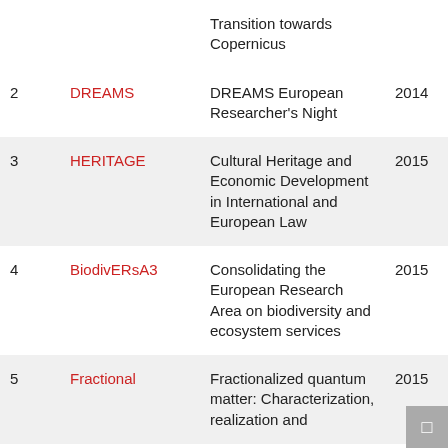| # | Name | Description | Year |
| --- | --- | --- | --- |
|  |  | Transition towards Copernicus |  |
| 2 | DREAMS | DREAMS European Researcher's Night | 2014 |
| 3 | HERITAGE | Cultural Heritage and Economic Development in International and European Law | 2015 |
| 4 | BiodivERsA3 | Consolidating the European Research Area on biodiversity and ecosystem services | 2015 |
| 5 | Fractional | Fractionalized quantum matter: Characterization, realization and | 2015 |